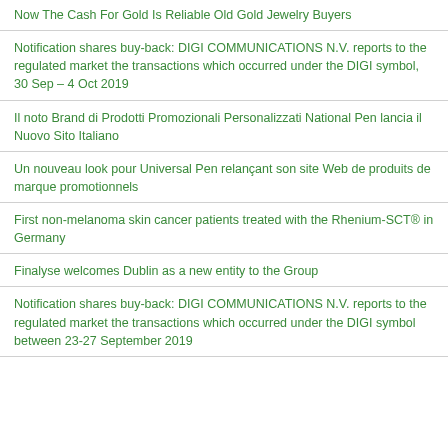Now The Cash For Gold Is Reliable Old Gold Jewelry Buyers
Notification shares buy-back: DIGI COMMUNICATIONS N.V. reports to the regulated market the transactions which occurred under the DIGI symbol, 30 Sep – 4 Oct 2019
Il noto Brand di Prodotti Promozionali Personalizzati National Pen lancia il Nuovo Sito Italiano
Un nouveau look pour Universal Pen relançant son site Web de produits de marque promotionnels
First non-melanoma skin cancer patients treated with the Rhenium-SCT® in Germany
Finalyse welcomes Dublin as a new entity to the Group
Notification shares buy-back: DIGI COMMUNICATIONS N.V. reports to the regulated market the transactions which occurred under the DIGI symbol between 23-27 September 2019